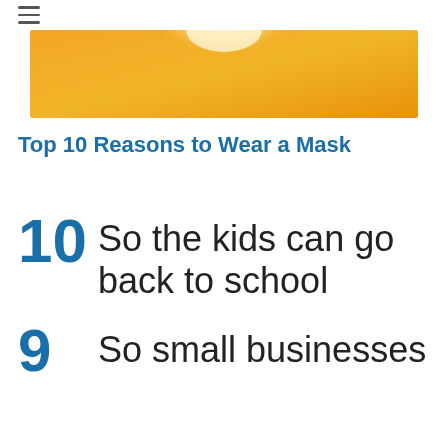☰
[Figure (illustration): Orange/golden gradient hero image with a white circular shape at the top center, partially visible at the top of the page.]
Top 10 Reasons to Wear a Mask
10 So the kids can go back to school
9 So small businesses